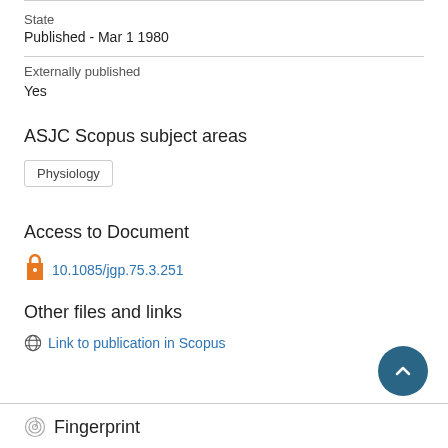State
Published - Mar 1 1980
Externally published
Yes
ASJC Scopus subject areas
Physiology
Access to Document
10.1085/jgp.75.3.251
Other files and links
Link to publication in Scopus
Fingerprint